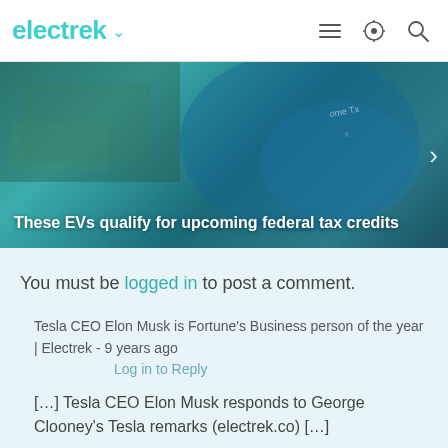electrek
[Figure (photo): Banner image showing hands holding money/cash with a blue-tinted overlay, promoting article: 'These EVs qualify for upcoming federal tax credits']
You must be logged in to post a comment.
Tesla CEO Elon Musk is Fortune's Business person of the year | Electrek - 9 years ago
Log in to Reply
[…] Tesla CEO Elon Musk responds to George Clooney's Tesla remarks (electrek.co) […]